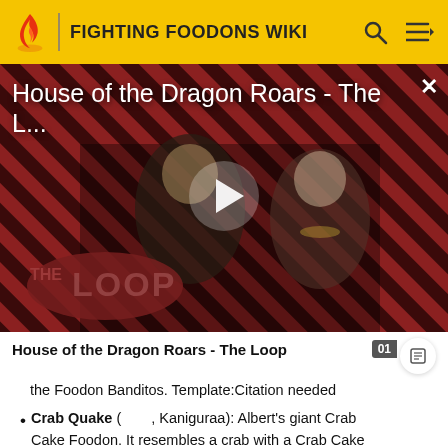FIGHTING FOODONS WIKI
[Figure (screenshot): Video thumbnail for 'House of the Dragon Roars - The L...' showing two characters from the show against a diagonal striped red and black background, with a play button overlay and 'THE LOOP' badge in lower left. A close (X) button is in the upper right.]
House of the Dragon Roars - The Loop
the Foodon Banditos. Template:Citation needed
Crab Quake (　　, Kaniguraa): Albert's giant Crab Cake Foodon. It resembles a crab with a Crab Cake